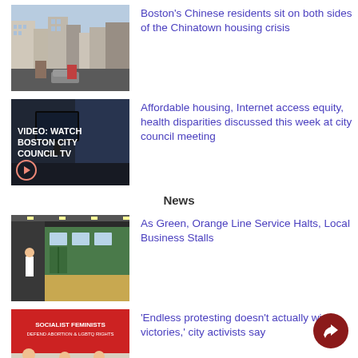[Figure (photo): Street view of Boston Chinatown with urban buildings and cars]
Boston's Chinese residents sit on both sides of the Chinatown housing crisis
[Figure (screenshot): Video thumbnail: VIDEO: WATCH BOSTON CITY COUNCIL TV]
Affordable housing, Internet access equity, health disparities discussed this week at city council meeting
News
[Figure (photo): Green or Orange Line subway platform with train and passengers]
As Green, Orange Line Service Halts, Local Business Stalls
[Figure (photo): Socialist Feminists rally with banner reading SOCIALIST FEMINISTS DEFEND ABORTION & LGBTQ RIGHTS]
'Endless protesting doesn't actually win victories,' city activists say